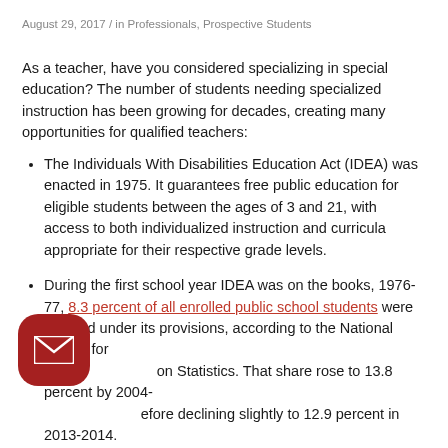August 29, 2017 / in Professionals, Prospective Students
As a teacher, have you considered specializing in special education? The number of students needing specialized instruction has been growing for decades, creating many opportunities for qualified teachers:
The Individuals With Disabilities Education Act (IDEA) was enacted in 1975. It guarantees free public education for eligible students between the ages of 3 and 21, with access to both individualized instruction and curricula appropriate for their respective grade levels.
During the first school year IDEA was on the books, 1976-77, 8.3 percent of all enrolled public school students were covered under its provisions, according to the National Center for Education Statistics. That share rose to 13.8 percent by 2004-05, before declining slightly to 12.9 percent in 2013-2014.
However, despite the overall decline in enrollment, there has